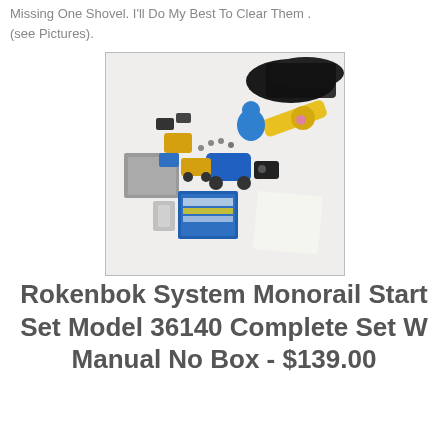Missing One Shovel. I'll Do My Best To Clear Them . (see Pictures).
[Figure (photo): Photo of Rokenbok System Monorail Start Set Model 36140 parts spread out on a white surface, including yellow and blue toy construction vehicles, black rail pieces, a remote control unit, instruction booklet, and various components.]
Rokenbok System Monorail Start Set Model 36140 Complete Set W Manual No Box - $139.00